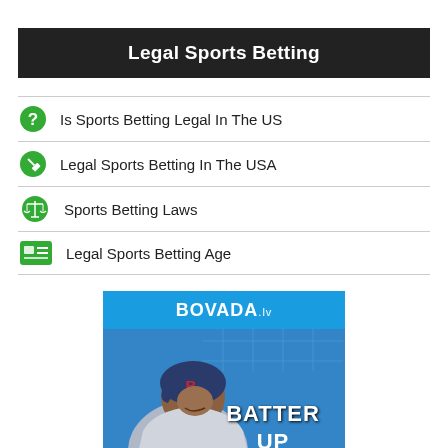Legal Sports Betting
Is Sports Betting Legal In The US
Legal Sports Betting In The USA
Sports Betting Laws
Legal Sports Betting Age
[Figure (photo): Bovada.lv advertisement featuring a smiling baseball player wearing a Boston Red Sox uniform and helmet, with the text 'BATTER UP' overlaid on a blue background with a scoreboard graphic.]